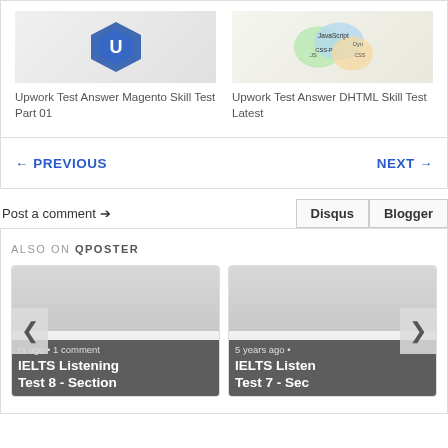[Figure (photo): Thumbnail image for Upwork Test Answer Magento Skill Test Part 01 - blue diamond logo]
Upwork Test Answer Magento Skill Test Part 01
[Figure (photo): Thumbnail image for Upwork Test Answer DHTML Skill Test Latest - Venn diagram with JavaScript, CSS labels]
Upwork Test Answer DHTML Skill Test Latest
← PREVIOUS
NEXT →
Post a comment →
Disqus
Blogger
ALSO ON QPOSTER
rs ago • 1 comment
IELTS Listening Test 8 - Section
5 years ago •
IELTS Listening Test 7 - Sec